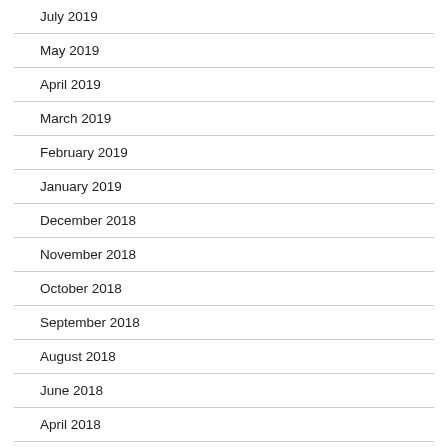July 2019
May 2019
April 2019
March 2019
February 2019
January 2019
December 2018
November 2018
October 2018
September 2018
August 2018
June 2018
April 2018